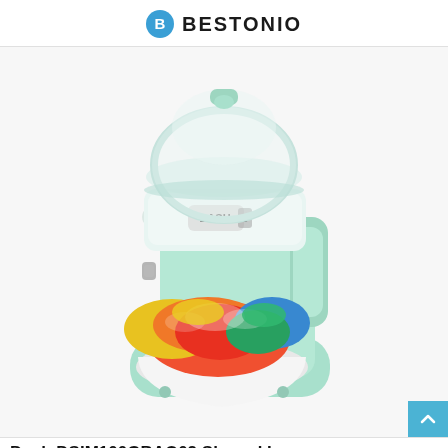BESTONIO
[Figure (photo): A mint green Dash brand shaved ice maker machine with a clear bowl on top and a white bowl of colorful shaved ice (red, yellow, blue, green) underneath it, on a white background.]
Dash DSIM100GBAO02 Shaved Ice